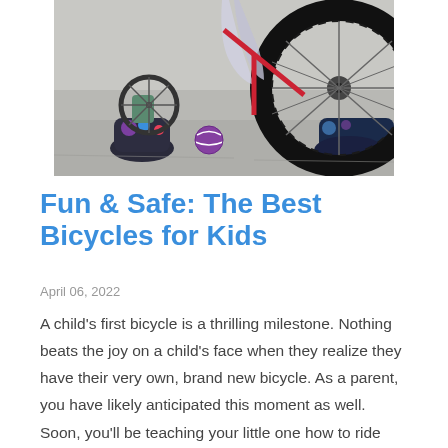[Figure (photo): Close-up photo of a child's feet in colorful shoes standing next to a bicycle with training wheels on a concrete surface. The large front bicycle tire and training wheel are visible.]
Fun & Safe: The Best Bicycles for Kids
April 06, 2022
A child's first bicycle is a thrilling milestone. Nothing beats the joy on a child's face when they realize they have their very own, brand new bicycle. As a parent, you have likely anticipated this moment as well. Soon, you'll be teaching your little one how to ride that bike up and